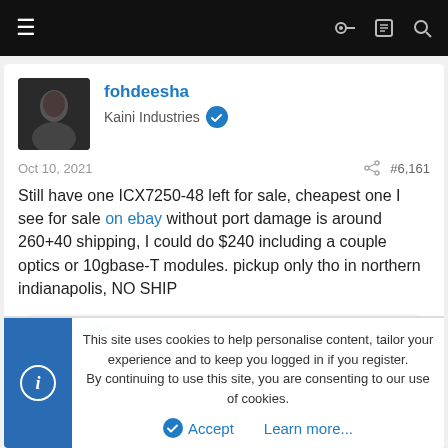Navigation bar with menu, key, list, and search icons
fohdeesha
Kaini Industries
Oct 10, 2021  #6,161
Still have one ICX7250-48 left for sale, cheapest one I see for sale on ebay without port damage is around 260+40 shipping, I could do $240 including a couple optics or 10gbase-T modules. pickup only tho in northern indianapolis, NO SHIP
tinfoil3d
This site uses cookies to help personalise content, tailor your experience and to keep you logged in if you register.
By continuing to use this site, you are consenting to our use of cookies.
Accept  Learn more...